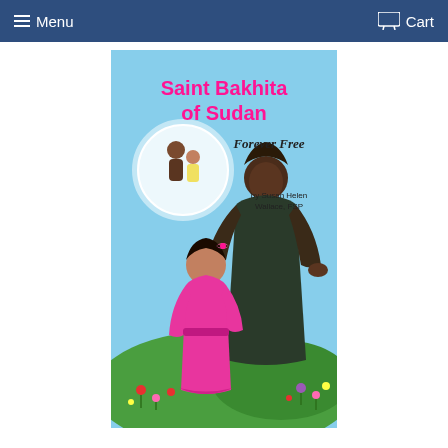Menu   Cart
[Figure (illustration): Book cover of 'Saint Bakhita of Sudan: Forever Free' by Susan Helen Wallace, FSP. Shows an elderly African nun in dark robes standing with a young girl in a pink dress. The background has flowers and greenery. A circular inset shows two children. The title is in pink text at the top.]